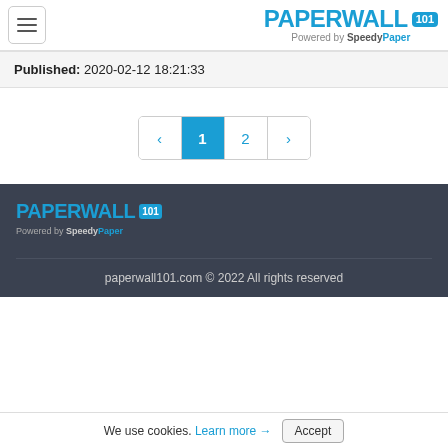PAPERWALL 101 — Powered by SpeedyPaper
Published: 2020-02-12 18:21:33
[Figure (other): Pagination control showing page 1 (active, blue), page 2, with previous and next arrows]
[Figure (logo): PAPERWALL 101 logo with tagline Powered by SpeedyPaper on dark footer background]
paperwall101.com © 2022 All rights reserved
We use cookies. Learn more → Accept